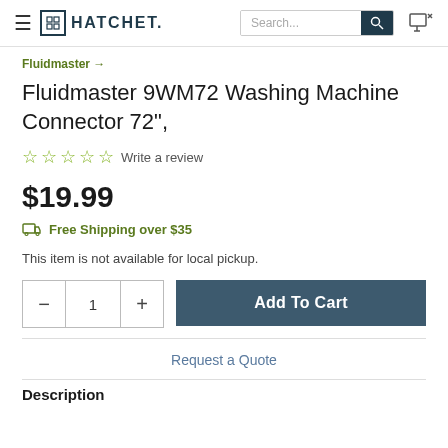HATCHET — Search bar and cart icon navigation
Fluidmaster →
Fluidmaster 9WM72 Washing Machine Connector 72",
☆☆☆☆☆ Write a review
$19.99
Free Shipping over $35
This item is not available for local pickup.
- 1 + Add To Cart
Request a Quote
Description